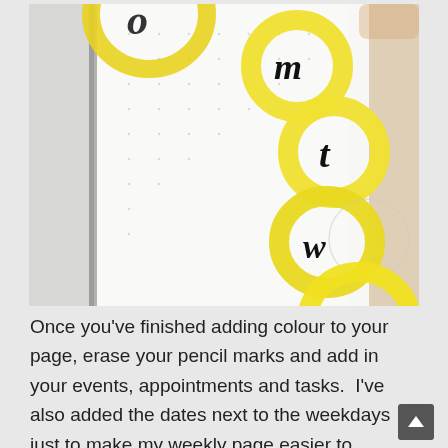[Figure (photo): Close-up photo of a bullet journal dotted page with yellow-highlighted circular frames containing cursive letters: m, t, w, t, f representing days of the week (Monday through Friday), cascading diagonally across the right side of the page.]
Once you've finished adding colour to your page, erase your pencil marks and add in your events, appointments and tasks.  I've also added the dates next to the weekdays just to make my weekly page easier to